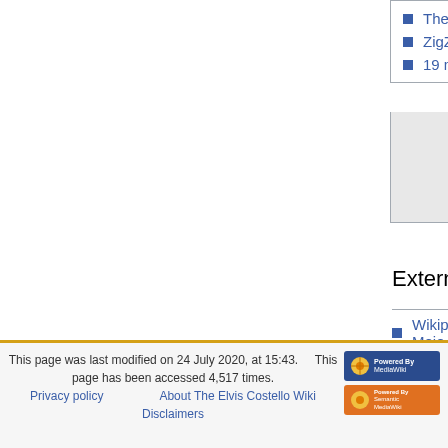The Word
ZigZag
19 magazine
External links
Wikipedia: Mojo
rocklistmusic.co.uk
| Categories: | Bibliography | Bibliography 1996 | Mojo | Magazine articles | Elvis writes | Readers polls | Lists |
This page was last modified on 24 July 2020, at 15:43.  This page has been accessed 4,517 times.  Privacy policy  About The Elvis Costello Wiki  Disclaimers